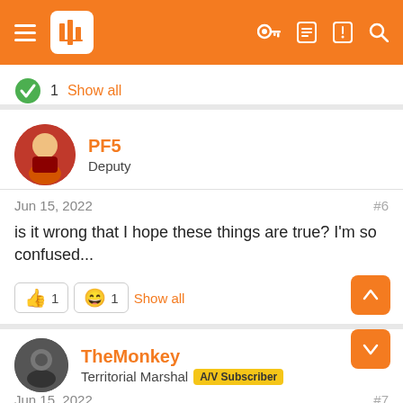Navigation bar with hamburger menu, logo, key icon, list icon, alert icon, search icon
1  Show all
PF5
Deputy
Jun 15, 2022  #6
is it wrong that I hope these things are true? I'm so confused...
👍 1  😄 1  Show all
TheMonkey
Territorial Marshal  A/V Subscriber
Jun 15, 2022  #7